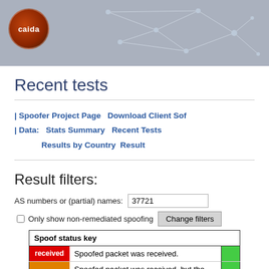[Figure (logo): CAIDA logo - dark blue banner with network node/edge diagram and CAIDA circular logo in red/orange tones]
Recent tests
| Spoofer Project Page   Download Client Sof
| Data:   Stats Summary   Recent Tests
Results by Country   Result
Result filters:
AS numbers or (partial) names: 37721
Only show non-remediated spoofing   Change filters
| Spoof status key |  |  |
| --- | --- | --- |
| received | Spoofed packet was received. |  |
| rewritten | Spoofed packet was received, but the source |  |